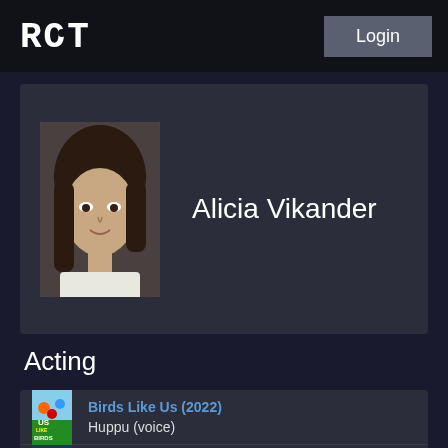[Figure (logo): ROT logo text in white monospace font on black header bar]
Login
[Figure (photo): Headshot photo of Alicia Vikander, young woman with dark hair]
Alicia Vikander
Acting
[Figure (photo): Movie poster for Birds Like Us (2022) - animated birds]
Birds Like Us (2022)
Huppu (voice)
[Figure (photo): Movie poster for Blue Bayou (2021)]
Blue Bayou (2021)
Kathy LeBlanc